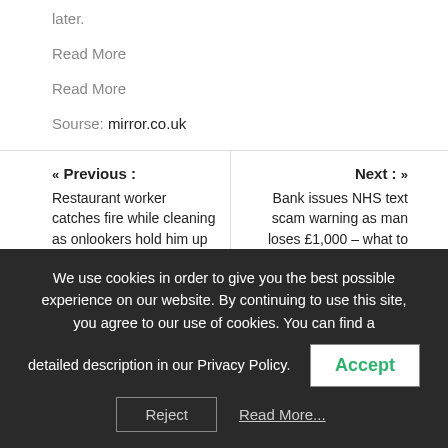later.
Read More
Read More
Sourse: mirror.co.uk
« Previous : Restaurant worker catches fire while cleaning as onlookers hold him up to sprinklers – World News
Next : » Bank issues NHS text scam warning as man loses £1,000 – what to look out for
We use cookies in order to give you the best possible experience on our website. By continuing to use this site, you agree to our use of cookies. You can find a detailed description in our Privacy Policy.
Accept
Reject
Read More...